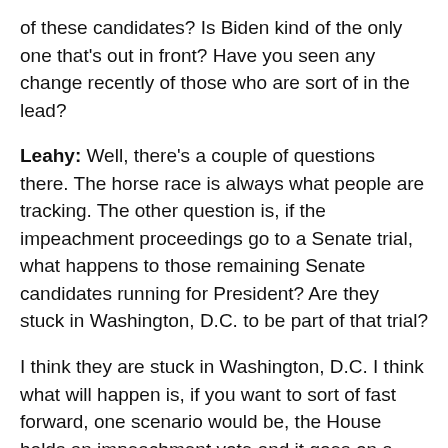of these candidates? Is Biden kind of the only one that's out in front? Have you seen any change recently of those who are sort of in the lead?
Leahy: Well, there's a couple of questions there. The horse race is always what people are tracking. The other question is, if the impeachment proceedings go to a Senate trial, what happens to those remaining Senate candidates running for President? Are they stuck in Washington, D.C. to be part of that trial?
I think they are stuck in Washington, D.C. I think what will happen is, if you want to sort of fast forward, one scenario would be, the House holds an impeachment vote and it goes on a party-line vote, partisan vote and they impeach the President on X  number of articles of impeachment.
All of which, Americans look at and say that it's silly. For the most part, the majority of Americans do. And the polls are turning towards the President. So then the Senate will take it